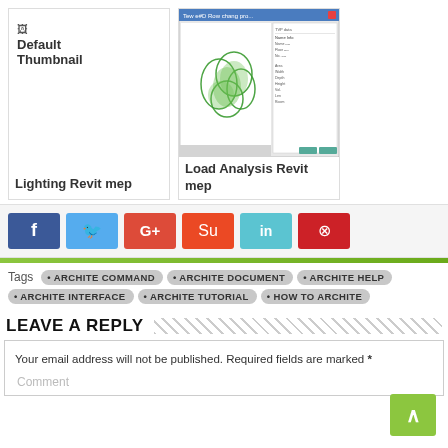[Figure (screenshot): Default Thumbnail placeholder with broken image icon and bold text]
[Figure (screenshot): Load Analysis Revit mep software screenshot showing green plant-like shape and dialog box]
Lighting Revit mep
Load Analysis Revit mep
[Figure (infographic): Social media share buttons: Facebook, Twitter, Google+, StumbleUpon, LinkedIn, Pinterest]
Tags  ARCHITE COMMAND  ARCHITE DOCUMENT  ARCHITE HELP  ARCHITE INTERFACE  ARCHITE TUTORIAL  HOW TO ARCHITE
LEAVE A REPLY
Your email address will not be published. Required fields are marked *
Comment